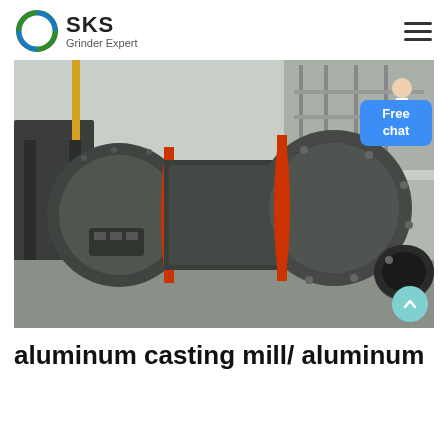SKS Grinder Expert
[Figure (photo): Industrial aluminum casting mill / aluminum mill machinery — large cylindrical grinding mill with red belt rings, dark grey metal casing, bolted flanges and pipe outlet, shown in a factory warehouse setting.]
aluminum casting mill/ aluminum